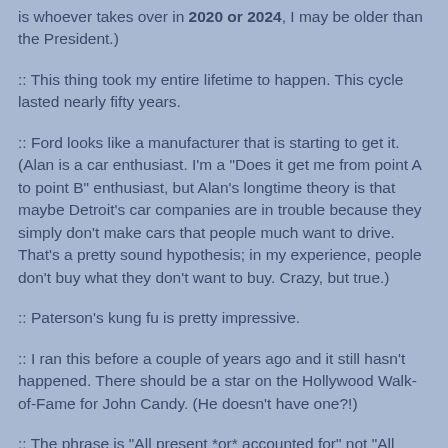is whoever takes over in 2020 or 2024, I may be older than the President.)
:: This thing took my entire lifetime to happen. This cycle lasted nearly fifty years.
:: Ford looks like a manufacturer that is starting to get it. (Alan is a car enthusiast. I'm a "Does it get me from point A to point B" enthusiast, but Alan's longtime theory is that maybe Detroit's car companies are in trouble because they simply don't make cars that people much want to drive. That's a pretty sound hypothesis; in my experience, people don't buy what they don't want to buy. Crazy, but true.)
:: Paterson's kung fu is pretty impressive.
:: I ran this before a couple of years ago and it still hasn't happened. There should be a star on the Hollywood Walk-of-Fame for John Candy. (He doesn't have one?!)
:: The phrase is "All present *or* accounted for" not "All present *and* accounted for." (Really? I confess that the latter sounds better to me.)